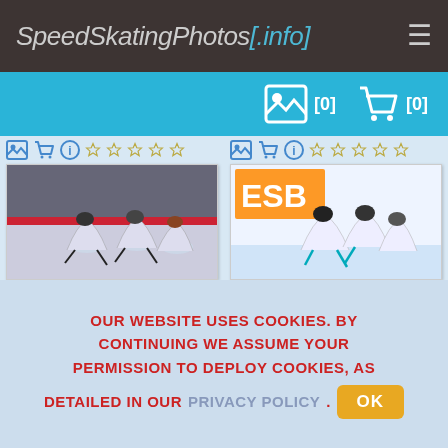SpeedSkatingPhotos[.info]
[Figure (screenshot): Website screenshot showing SpeedSkatingPhotos.info with header navigation, image gallery icons, two speed skating photos, and a cookie consent banner.]
OUR WEBSITE USES COOKIES. BY CONTINUING WE ASSUME YOUR PERMISSION TO DEPLOY COOKIES, AS DETAILED IN OUR PRIVACY POLICY. OK